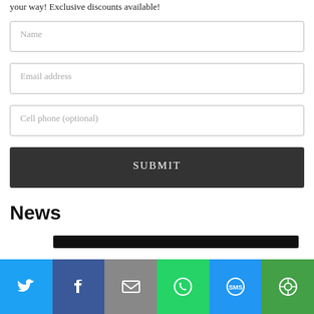your way! Exclusive discounts available!
Name
Email address
Cell phone (optional)
SUBMIT
News
[Figure (other): Social sharing bar with Twitter, Facebook, Email, WhatsApp, SMS, and More buttons]